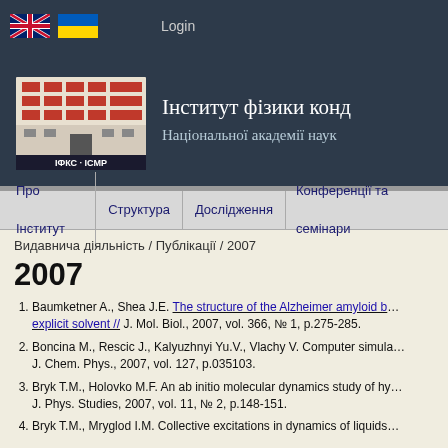Login
Інститут фізики конд
Національної академії наук
Про Інститут  Структура  Дослідження  Конференції та семінари
Видавнича діяльність / Публікації / 2007
2007
Baumketner A., Shea J.E. The structure of the Alzheimer amyloid b... explicit solvent // J. Mol. Biol., 2007, vol. 366, № 1, p.275-285.
Boncina M., Rescic J., Kalyuzhnyi Yu.V., Vlachy V. Computer simula... J. Chem. Phys., 2007, vol. 127, p.035103.
Bryk T.M., Holovko M.F. An ab initio molecular dynamics study of hy... J. Phys. Studies, 2007, vol. 11, № 2, p.148-151.
Bryk T.M., Mryglod I.M. Collective excitations in dynamics of liquids...